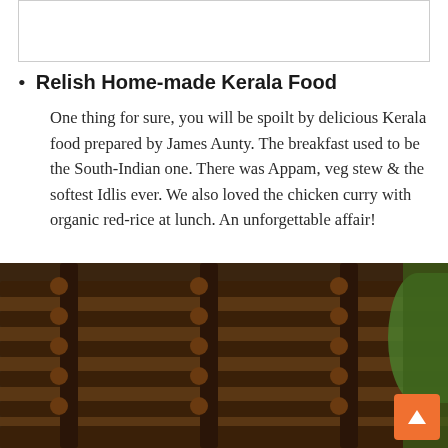[Figure (other): Empty white box with border at top of page]
Relish Home-made Kerala Food

One thing for sure, you will be spoilt by delicious Kerala food prepared by James Aunty. The breakfast used to be the South-Indian one. There was Appam, veg stew & the softest Idlis ever. We also loved the chicken curry with organic red-rice at lunch. An unforgettable affair!
[Figure (photo): Close-up photo of dark brown wooden furniture/chair with horizontal slats and round wooden knobs, with green foliage visible in the background at right]